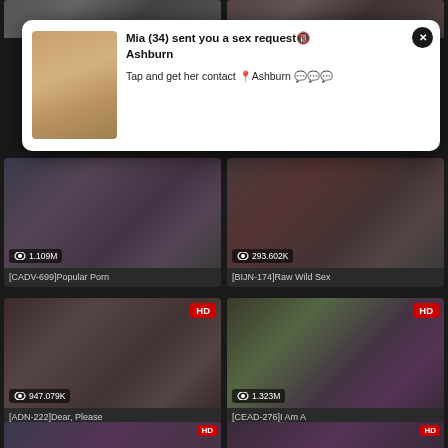[Figure (screenshot): Adult video website grid with overlay popup notification. Top strip shows two partial thumbnails. Below is a popup/modal with a woman's photo and text 'Mia (34) sent you a sex request Ashburn / Tap and get her contact Ashburn'. Grid shows video cards: [CADV-699]Popular Porn (1.109M views), [BIJN-174]Raw Wild Sex (293.602K views), [ADN-222]Dear, Please (947.079K views, HD badge), [CEAD-276]I Am A (1.323M views, HD badge), and partial bottom row with HD badges.]